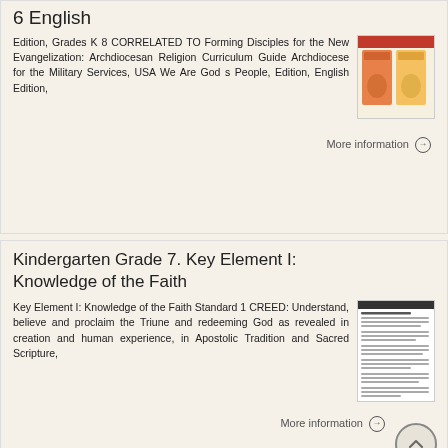6 English Edition, Grades K 8 CORRELATED TO Forming Disciples for the New Evangelization: Archdiocesan Religion Curriculum Guide Archdiocese for the Military Services, USA We Are God s People, Edition, English Edition,
[Figure (photo): Thumbnail image of a religious education book cover with orange/yellow colors]
More information →
Kindergarten Grade 7. Key Element I: Knowledge of the Faith
Key Element I: Knowledge of the Faith Standard 1 CREED: Understand, believe and proclaim the Triune and redeeming God as revealed in creation and human experience, in Apostolic Tradition and Sacred Scripture,
[Figure (screenshot): Thumbnail image of a document/worksheet page with text lines]
More information →